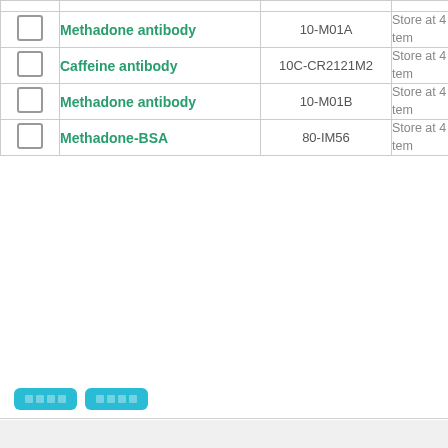|  | Name | SKU | Storage |
| --- | --- | --- | --- |
| ☐ | Methadone antibody | 10-M01A | Store at 4 tem… |
| ☐ | Caffeine antibody | 10C-CR2121M2 | Store at 4 tem… |
| ☐ | Methadone antibody | 10-M01B | Store at 4 tem… |
| ☐ | Methadone-BSA | 80-IM56 | Store at 4 tem… |